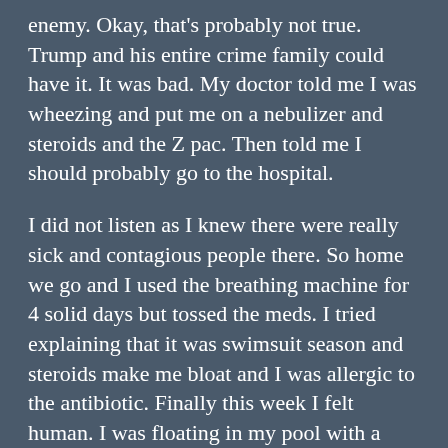enemy. Okay, that's probably not true. Trump and his entire crime family could have it. It was bad. My doctor told me I was wheezing and put me on a nebulizer and steroids and the Z pac. Then told me I should probably go to the hospital.

I did not listen as I knew there were really sick and contagious people there. So home we go and I used the breathing machine for 4 solid days but tossed the meds. I tried explaining that it was swimsuit season and steroids make me bloat and I was allergic to the antibiotic. Finally this week I felt human. I was floating in my pool with a mask every day. So that explains where I have been. Much the same as everyone we are still in limbo with work and why in the world people keep coming from Texas and Florida and Iowa and complaining because Marriott is requiring a mask or you can